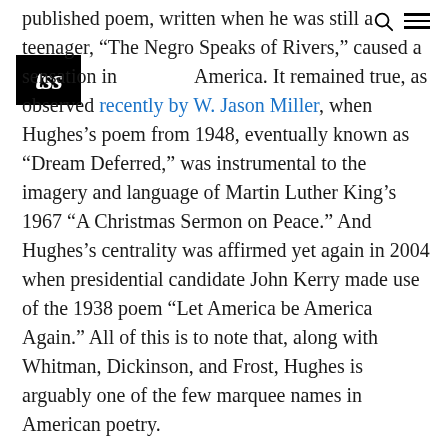published poem, written when he was still a teenager, “The Negro Speaks of Rivers,” caused a sensation in Black America. It remained true, as observed recently by W. Jason Miller, when Hughes’s poem from 1948, eventually known as “Dream Deferred,” was instrumental to the imagery and language of Martin Luther King’s 1967 “A Christmas Sermon on Peace.” And Hughes’s centrality was affirmed yet again in 2004 when presidential candidate John Kerry made use of the 1938 poem “Let America be America Again.” All of this is to note that, along with Whitman, Dickinson, and Frost, Hughes is arguably one of the few marquee names in American poetry.
Yet there remains a curious sense that Hughes’s poetry has never received the respect it deserves among the art’s cognoscenti. Certainly, race and racism are key factors in explaining why so few critics have championed Hughes’s poetry over the decades. His